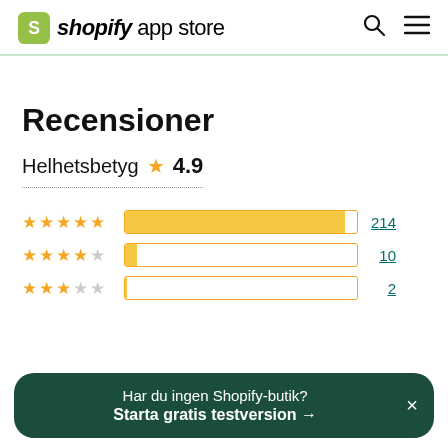shopify app store
Recensioner
Helhetsbetyg ★ 4.9
[Figure (bar-chart): Rating distribution]
Har du ingen Shopify-butik? Starta gratis testversion →